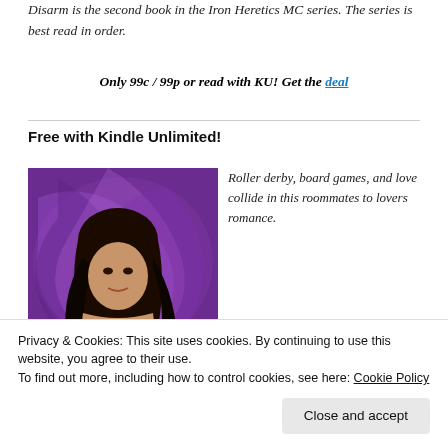Disarm is the second book in the Iron Heretics MC series. The series is best read in order.
Only 99c / 99p or read with KU! Get the deal
Free with Kindle Unlimited!
[Figure (photo): Book cover showing a woman with long dark hair and tattoos against a purple swirling background]
Roller derby, board games, and love collide in this roommates to lovers romance.
Roxie Esposito just opened a
Privacy & Cookies: This site uses cookies. By continuing to use this website, you agree to their use.
To find out more, including how to control cookies, see here: Cookie Policy
Close and accept